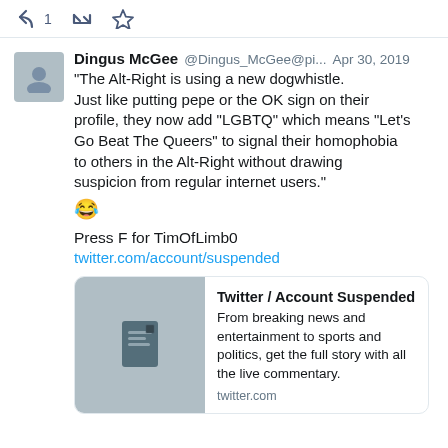[Figure (screenshot): Top action bar with reply (1), retweet, and star icons in dark blue-gray]
Dingus McGee @Dingus_McGee@pi... Apr 30, 2019
"The Alt-Right is using a new dogwhistle. Just like putting pepe or the OK sign on their profile, they now add "LGBTQ" which means "Let's Go Beat The Queers" to signal their homophobia to others in the Alt-Right without drawing suspicion from regular internet users."
😂

Press F for TimOfLimb0
twitter.com/account/suspended
[Figure (screenshot): Twitter link preview card: Twitter / Account Suspended. From breaking news and entertainment to sports and politics, get the full story with all the live commentary. twitter.com]